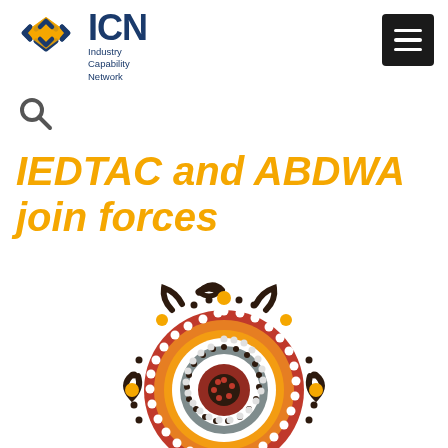[Figure (logo): ICN Industry Capability Network logo with orange/gold diamond arrow graphic and dark blue ICN text with subtitle]
[Figure (other): Black hamburger menu icon (three white horizontal lines on black background) in top right corner]
[Figure (other): Grey magnifying glass search icon]
IEDTAC and ABDWA join forces
[Figure (illustration): Aboriginal art style circular mandala illustration with concentric rings of dots in red, orange, and white, surrounded by curved boomerang shapes and dot patterns in dark brown and orange]